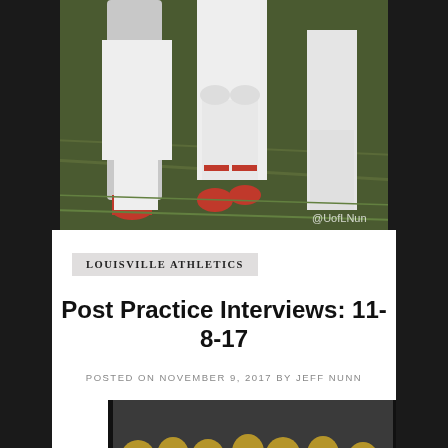[Figure (photo): Football players on field, close-up of legs and lower body in white uniforms, with @UofLNun watermark in bottom right corner]
LOUISVILLE ATHLETICS
Post Practice Interviews: 11-8-17
POSTED ON NOVEMBER 9, 2017 BY JEFF NUNN
[Figure (photo): Louisville Cardinals football player in white uniform with red helmet carrying ball, running against Wake Forest players in black and gold uniforms, number 35 visible in background]